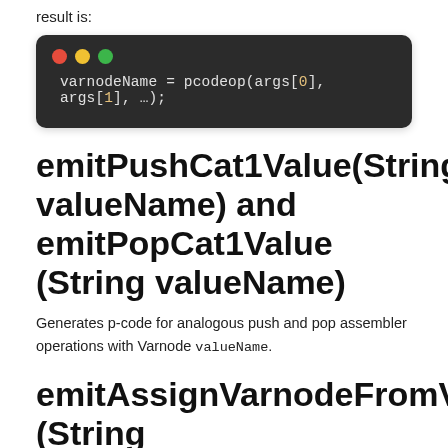result is:
[Figure (screenshot): Dark terminal/code window with traffic light buttons showing: varnodeName = pcodeop(args[0], args[1], …);]
emitPushCat1Value(String valueName) and emitPopCat1Value (String valueName)
Generates p-code for analogous push and pop assembler operations with Varnode valueName.
emitAssignVarnodeFromVarnode (String varnodeOutName, String